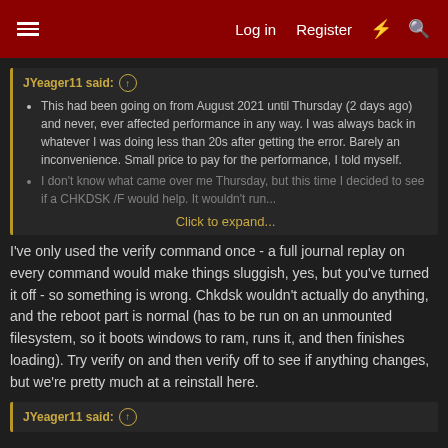Log in | Register
JYeager11 said:
This had been going on from August 2021 until Thursday (2 days ago) and never, ever affected performance in any way. I was always back in whatever I was doing less than 20s after getting the error. Barely an inconvenience. Small price to pay for the performance, I told myself.
I don't know what came over me Thursday, but this time I decided to see if a CHKDSK /F would help. It wouldn't run...
Click to expand...
I've only used the verify command once - a full journal replay on every command would make things sluggish, yes, but you've turned it off - so something is wrong. Chkdsk wouldn't actually do anything, and the reboot part is normal (has to be run on an unmounted filesystem, so it boots windows to ram, runs it, and then finishes loading). Try verify on and then verify off to see if anything changes, but we're pretty much at a reinstall here.
JYeager11 said: